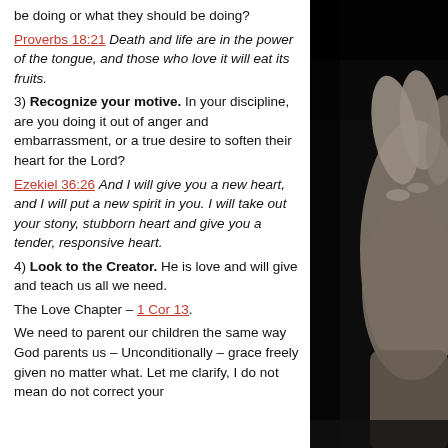be doing or what they should be doing? Proverbs 18:21 Death and life are in the power of the tongue, and those who love it will eat its fruits.
3) Recognize your motive. In your discipline, are you doing it out of anger and embarrassment, or a true desire to soften their heart for the Lord? Ezekiel 36:26 And I will give you a new heart, and I will put a new spirit in you. I will take out your stony, stubborn heart and give you a tender, responsive heart.
4) Look to the Creator. He is love and will give and teach us all we need.
The Love Chapter – 1 Cor 13.
We need to parent our children the same way God parents us – Unconditionally – grace freely given no matter what. Let me clarify, I do not mean do not correct your
[Figure (photo): Close-up black and white photo of hands clasped together, against a dark background.]